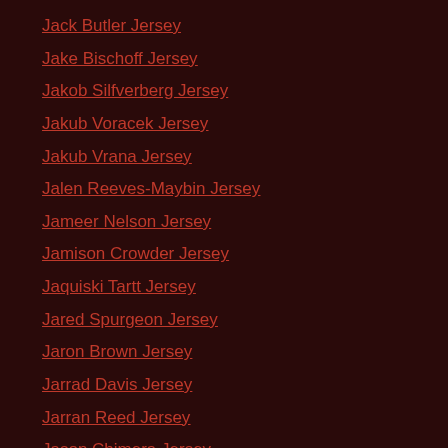Jack Butler Jersey
Jake Bischoff Jersey
Jakob Silfverberg Jersey
Jakub Voracek Jersey
Jakub Vrana Jersey
Jalen Reeves-Maybin Jersey
Jameer Nelson Jersey
Jamison Crowder Jersey
Jaquiski Tartt Jersey
Jared Spurgeon Jersey
Jaron Brown Jersey
Jarrad Davis Jersey
Jarran Reed Jersey
Jason Chimera Jersey
Jay Novacek Jersey